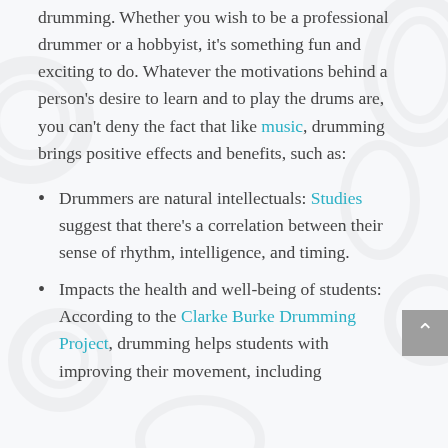drumming. Whether you wish to be a professional drummer or a hobbyist, it's something fun and exciting to do. Whatever the motivations behind a person's desire to learn and to play the drums are, you can't deny the fact that like music, drumming brings positive effects and benefits, such as:
Drummers are natural intellectuals: Studies suggest that there's a correlation between their sense of rhythm, intelligence, and timing.
Impacts the health and well-being of students: According to the Clarke Burke Drumming Project, drumming helps students with improving their movement, including